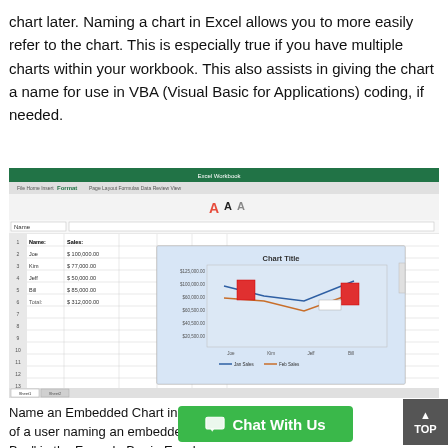chart later. Naming a chart in Excel allows you to more easily refer to the chart. This is especially true if you have multiple charts within your workbook. This also assists in giving the chart a name for use in VBA (Visual Basic for Applications) coding, if needed.
[Figure (screenshot): A screenshot of Microsoft Excel showing a spreadsheet with Name and Sales columns, and an embedded line chart titled 'Chart Title' with Jan Sales and Feb Sales series.]
Name an Embedded Chart in Excel – Instructions: A picture of a user naming an embedded chart by using the "Name Box" in the Formula Bar in Excel.